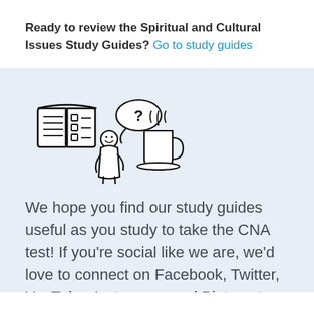Ready to review the Spiritual and Cultural Issues Study Guides? Go to study guides
[Figure (illustration): Illustration of a person with a thought bubble containing a question mark, alongside an open book/notebook and a hot beverage cup]
We hope you find our study guides useful as you study to take the CNA test! If you're social like we are, we'd love to connect on Facebook, Twitter, YouTube, Instagram, and Pinterest. We'd love to hear your feedback, answer any questions you have, or just hear more about you and your CNA journey. Good luck studying...